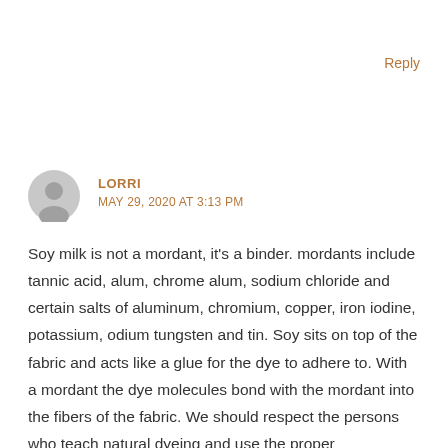Reply
LORRI
MAY 29, 2020 AT 3:13 PM
Soy milk is not a mordant, it's a binder. mordants include tannic acid, alum, chrome alum, sodium chloride and certain salts of aluminum, chromium, copper, iron iodine, potassium, odium tungsten and tin. Soy sits on top of the fabric and acts like a glue for the dye to adhere to. With a mordant the dye molecules bond with the mordant into the fibers of the fabric. We should respect the persons who teach natural dyeing and use the proper terminology.